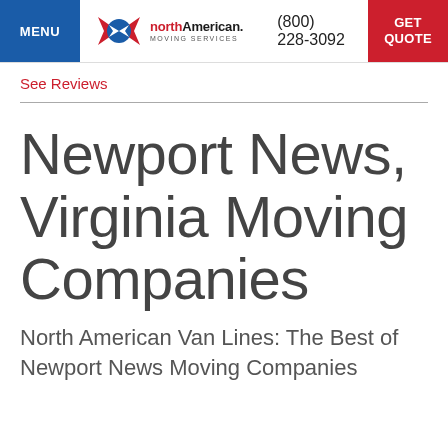MENU | northAmerican Moving Services | (800) 228-3092 | GET QUOTE
See Reviews
Newport News, Virginia Moving Companies
North American Van Lines: The Best of Newport News Moving Companies